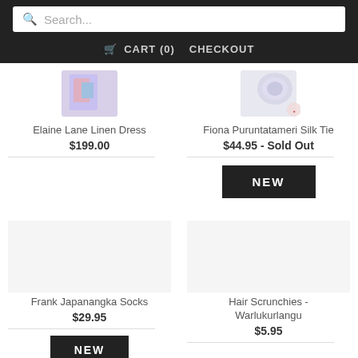Search... | CART (0) CHECKOUT
[Figure (screenshot): Product image for Elaine Lane Linen Dress - colorful fabric thumbnail]
Elaine Lane Linen Dress
$199.00
[Figure (screenshot): Product image for Fiona Puruntatameri Silk Tie - lace/fabric thumbnail with badge]
Fiona Puruntatameri Silk Tie
$44.95 - Sold Out
NEW
[Figure (screenshot): Product image area for Frank Japanangka Socks - empty/placeholder]
Frank Japanangka Socks
$29.95
[Figure (screenshot): Product image area for Hair Scrunchies - Warlukurlangu - empty/placeholder]
Hair Scrunchies - Warlukurlangu
$5.95
NEW